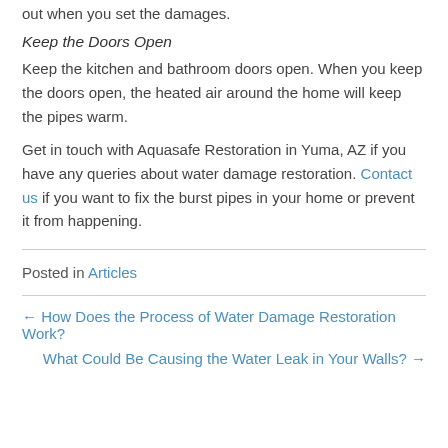out when you set the damages.
Keep the Doors Open
Keep the kitchen and bathroom doors open. When you keep the doors open, the heated air around the home will keep the pipes warm.
Get in touch with Aquasafe Restoration in Yuma, AZ if you have any queries about water damage restoration. Contact us if you want to fix the burst pipes in your home or prevent it from happening.
Posted in Articles
← How Does the Process of Water Damage Restoration Work?
What Could Be Causing the Water Leak in Your Walls? →